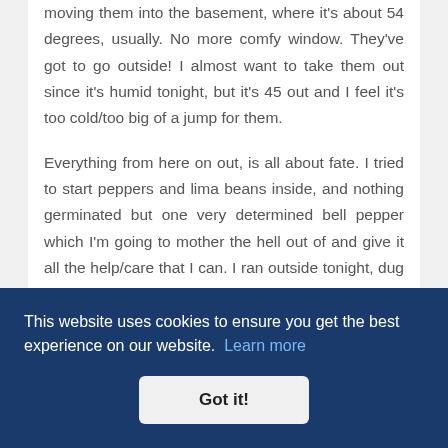moving them into the basement, where it's about 54 degrees, usually. No more comfy window. They've got to go outside! I almost want to take them out since it's humid tonight, but it's 45 out and I feel it's too cold/too big of a jump for them.
Everything from here on out, is all about fate. I tried to start peppers and lima beans inside, and nothing germinated but one very determined bell pepper which I'm going to mother the hell out of and give it all the help/care that I can. I ran outside tonight, dug a few shallow holes in the garden and dumped some Yellow Banana peppers...
This website uses cookies to ensure you get the best experience on our website. Learn more
Got it!